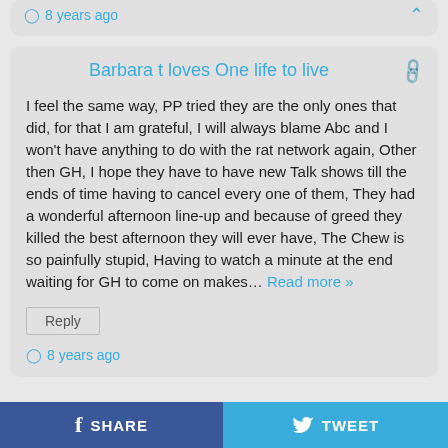8 years ago
Barbara t loves One life to live
I feel the same way, PP tried they are the only ones that did, for that I am grateful, I will always blame Abc and I won't have anything to do with the rat network again, Other then GH, I hope they have to have new Talk shows till the ends of time having to cancel every one of them, They had a wonderful afternoon line-up and because of greed they killed the best afternoon they will ever have, The Chew is so painfully stupid, Having to watch a minute at the end waiting for GH to come on makes… Read more »
Reply
8 years ago
SHARE   TWEET   ...